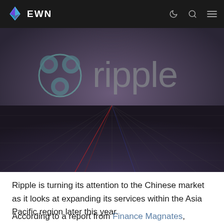EWN
[Figure (illustration): Dark purple/grey hero image featuring the Ripple (XRP) logo and wordmark 'ripple' overlaid on a futuristic digital network/data stream background with perspective lines converging at the horizon]
Ripple is turning its attention to the Chinese market as it looks at expanding its services within the Asia Pacific region later this year.
According to a report from Finance Magnates, China's